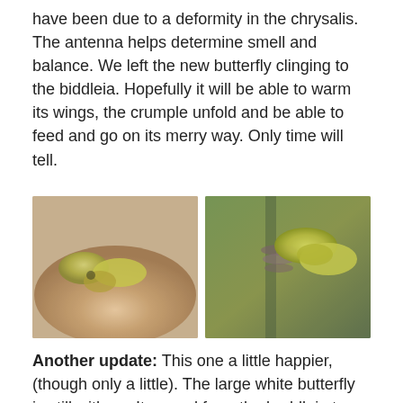have been due to a deformity in the chrysalis. The antenna helps determine smell and balance. We left the new butterfly clinging to the biddleia. Hopefully it will be able to warm its wings, the crumple unfold and be able to feed and go on its merry way. Only time will tell.
[Figure (photo): Two photos side by side: left photo shows a yellowish-green butterfly (large white butterfly) resting on a human hand; right photo shows a similar yellow-green butterfly clinging to a purple buddleia flower spike with green plants and a pot in the background.]
Another update: This one a little happier, (though only a little). The large white butterfly is still with us. It moved from the buddleia to the floor again, though I did see a white butterfly flutter about the rockery plants earlier in the